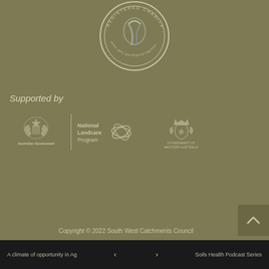[Figure (logo): ACNC Registered Charity badge - circular seal with text 'REGISTERED CHARITY' and 'acnc.gov.au/charityregister', featuring a ribbon graphic]
Supported by
[Figure (logo): Australian Government logo with coat of arms and text 'Australian Government']
[Figure (logo): National Landcare Program logo with leaf/petal graphic and text 'National Landcare Program']
[Figure (logo): Government of Western Australia logo with coat of arms and text 'GOVERNMENT OF WESTERN AUSTRALIA']
Copyright © 2022 South West Catchments Council
Powered by CloudPress
A climate of opportunity in Ag   <   >   Soils Health Podcast Series